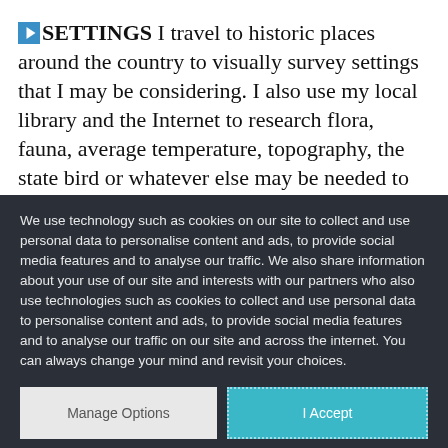SETTINGS I travel to historic places around the country to visually survey settings that I may be considering. I also use my local library and the Internet to research flora, fauna, average temperature, topography, the state bird or whatever else may be needed to give the setting a
We use technology such as cookies on our site to collect and use personal data to personalise content and ads, to provide social media features and to analyse our traffic. We also share information about your use of our site and interests with our partners who also use technologies such as cookies to collect and use personal data to personalise content and ads, to provide social media features and to analyse our traffic on our site and across the internet. You can always change your mind and revisit your choices.
Manage Options
I Accept